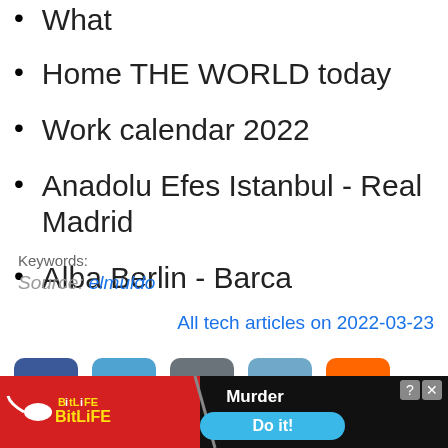What
Home THE WORLD today
Work calendar 2022
Anadolu Efes Istanbul - Real Madrid
Alba Berlin - Barca
Keywords:
Source: elmuldo
All tech articles on 2022-03-23
[Figure (screenshot): Social sharing buttons: Facebook (blue), Twitter (light blue), Email (grey), Reddit (blue-grey), Hacker News Y (orange)]
Close X
[Figure (screenshot): BitLife advertisement banner with red background, yellow BitLiFE logo, Murder text, and Do it! button]